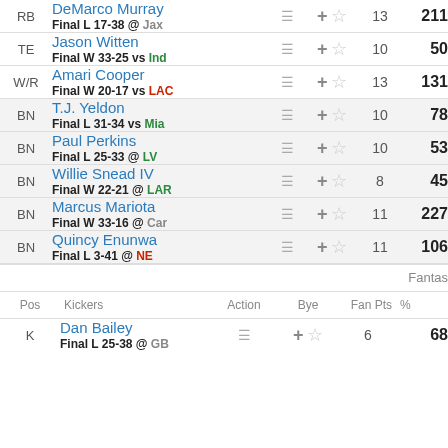| Pos | Player |  | Action | Bye | Fan Pts | % |
| --- | --- | --- | --- | --- | --- | --- |
| RB | DeMarco Murray / Final L 17-38 @ Jax |  | + ☆ | 13 | 211 |  |
| TE | Jason Witten / Final W 33-25 vs Ind |  | + ☆ | 10 | 50 |  |
| W/R | Amari Cooper / Final W 20-17 vs LAC |  | + ☆ | 13 | 131 |  |
| BN | T.J. Yeldon / Final L 31-34 vs Mia |  | + ☆ | 10 | 78 |  |
| BN | Paul Perkins / Final L 25-33 @ LV |  | + ☆ | 10 | 53 |  |
| BN | Willie Snead IV / Final W 22-21 @ LAR |  | + ☆ | 8 | 45 |  |
| BN | Marcus Mariota / Final W 33-16 @ Car |  | + ☆ | 11 | 227 |  |
| BN | Quincy Enunwa / Final L 3-41 @ NE |  | + ☆ | 11 | 106 |  |
Fantas
| Pos | Kickers | Action | Bye | Fan Pts | % |
| --- | --- | --- | --- | --- | --- |
| K | Dan Bailey / Final L 25-38 @ GB | + ☆ | 6 | 68 |  |